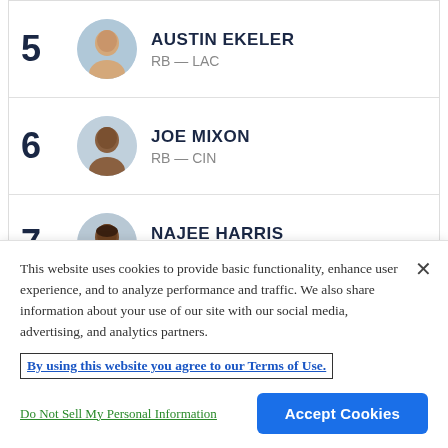5 AUSTIN EKELER RB — LAC
6 JOE MIXON RB — CIN
7 NAJEE HARRIS RB — PIT
8 JUSTIN JEFFERSON WR — MIN
This website uses cookies to provide basic functionality, enhance user experience, and to analyze performance and traffic. We also share information about your use of our site with our social media, advertising, and analytics partners.
By using this website you agree to our Terms of Use.
Do Not Sell My Personal Information
Accept Cookies